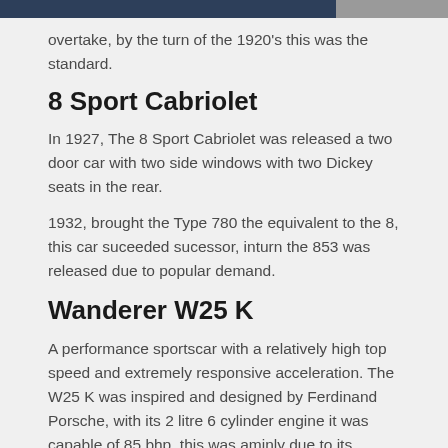overtake, by the turn of the 1920's this was the standard.
8 Sport Cabriolet
In 1927, The 8 Sport Cabriolet was released a two door car with two side windows with two Dickey seats in the rear.
1932, brought the Type 780 the equivalent to the 8, this car suceeded sucessor, inturn the 853 was released due to popular demand.
Wanderer W25 K
A performance sportscar with a relatively high top speed and extremely responsive acceleration. The W25 K was inspired and designed by Ferdinand Porsche, with its 2 litre 6 cylinder engine it was capable of 85 bhp, this was aminly due to its supercharger. This new, US influenced